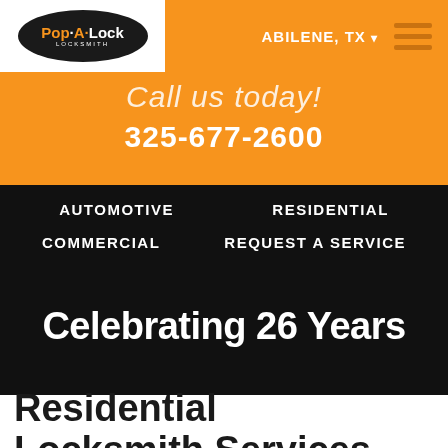[Figure (logo): Pop-A-Lock Locksmith logo — black oval with white and orange text]
ABILENE, TX ▾
Call us today!
325-677-2600
AUTOMOTIVE
RESIDENTIAL
COMMERCIAL
REQUEST A SERVICE
Celebrating 26 Years
Residential Locksmith Services